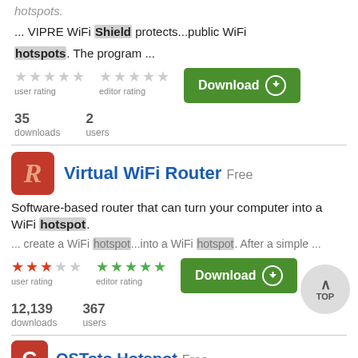hotspots: ... VIPRE WiFi Shield protects...public WiFi hotspots. The program ...
user rating (★★★★★ empty) | editor rating (★★★★★ empty) | Download
35 downloads | 2 users
Virtual WiFi Router  Free
Software-based router that can turn your computer into a WiFi hotspot.
... create a WiFi hotspot...into a WiFi hotspot. After a simple ...
user rating (★★★ filled red) | editor rating (★★★★★ filled green) | Download
12,139 downloads | 367 users
OSToto Hotspot  Free